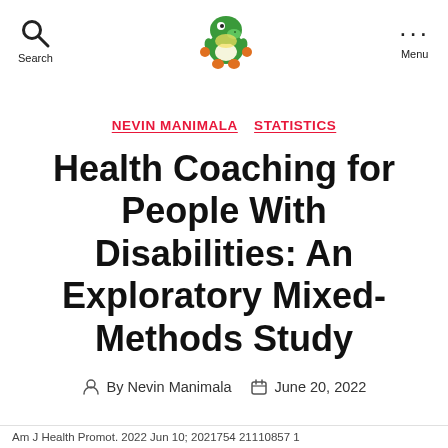Search | [Logo] | Menu
NEVIN MANIMALA   STATISTICS
Health Coaching for People With Disabilities: An Exploratory Mixed-Methods Study
By Nevin Manimala   June 20, 2022
Am J Health Promot. 2022 Jun 10; 2021754 21110857 1